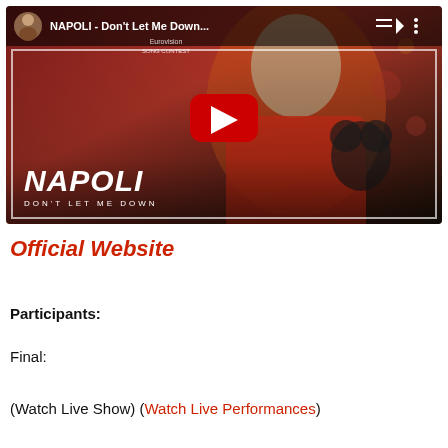[Figure (screenshot): YouTube video thumbnail for NAPOLI - Don't Let Me Down, showing a young woman in a red hoodie holding a Mickey Mouse plush toy, with the YouTube play button overlay and the text NAPOLI / DON'T LET ME DOWN on the thumbnail.]
Official Website
Participants:
Final:
(Watch Live Show) (Watch Live Performances)